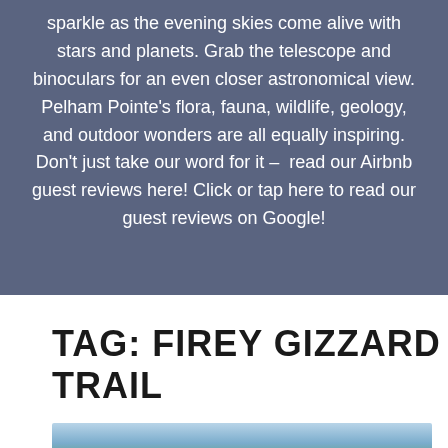sparkle as the evening skies come alive with stars and planets. Grab the telescope and binoculars for an even closer astronomical view. Pelham Pointe's flora, fauna, wildlife, geology, and outdoor wonders are all equally inspiring. Don't just take our word for it – read our Airbnb guest reviews here! Click or tap here to read our guest reviews on Google!
TAG: FIREY GIZZARD TRAIL
[Figure (photo): Landscape photo showing rolling green hills under a partly cloudy sky, likely a trail or nature view.]